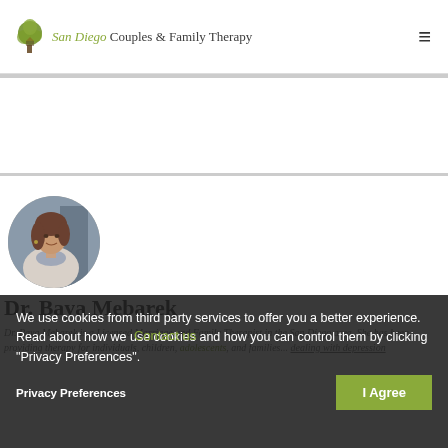San Diego Couples & Family Therapy
[Figure (photo): Circular profile photo of Dr. Baya Mebarek, a woman with shoulder-length brown hair wearing a scarf]
Dr. Baya Mebarek
Dr. Baya Mebarek is a Licensed Marriage and Family Therapist in the San Diego area. She has been providing therapy for individuals, children, adolescents, and families...dealing with depression
We use cookies from third party services to offer you a better experience. Read about how we use cookies and how you can control them by clicking "Privacy Preferences".
Contact us
Privacy Preferences
I Agree